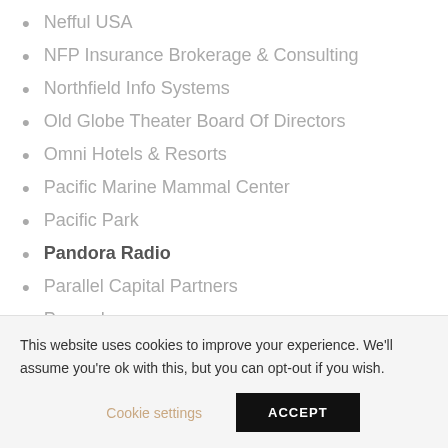Nefful USA
NFP Insurance Brokerage & Consulting
Northfield Info Systems
Old Globe Theater Board Of Directors
Omni Hotels & Resorts
Pacific Marine Mammal Center
Pacific Park
Pandora Radio
Parallel Capital Partners
Parexel
Patrons Of The Prado
PayPal
Peloton Group
This website uses cookies to improve your experience. We'll assume you're ok with this, but you can opt-out if you wish.